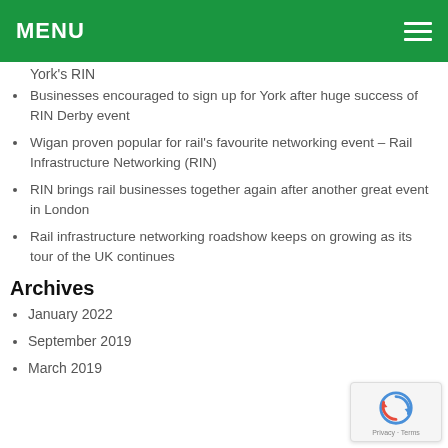MENU
York's RIN
Businesses encouraged to sign up for York after huge success of RIN Derby event
Wigan proven popular for rail's favourite networking event – Rail Infrastructure Networking (RIN)
RIN brings rail businesses together again after another great event in London
Rail infrastructure networking roadshow keeps on growing as its tour of the UK continues
Archives
January 2022
September 2019
March 2019